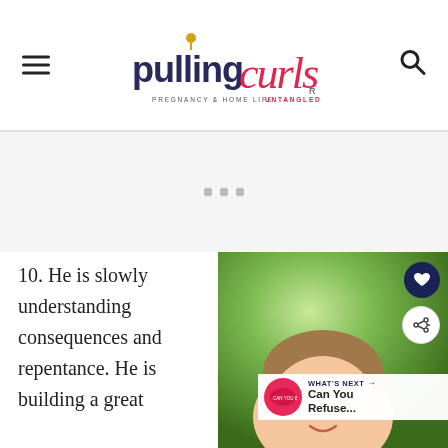pulling curls — PREGNANCY & HOME LIFE UNTANGLED
[Figure (other): Advertisement placeholder area with three small grey squares]
10.  He is slowly understanding consequences and repentance.  He is building a great
[Figure (photo): Photo of a young boy smiling, with green leafy background. Social sharing buttons (heart and share) overlay top-right. 'WHAT'S NEXT → Can You Refuse...' banner at bottom.]